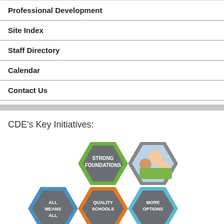Professional Development
Site Index
Staff Directory
Calendar
Contact Us
CDE's Key Initiatives:
[Figure (infographic): Hexagonal infographic showing CDE's Key Initiatives: Strong Foundations (green/gray hexagon), a photo hexagon showing students, All Means All (blue/gray hexagon), Quality Schools (orange/gray hexagon), More Options (light blue/gray hexagon), and partial hexagons at bottom including a photo hexagon.]